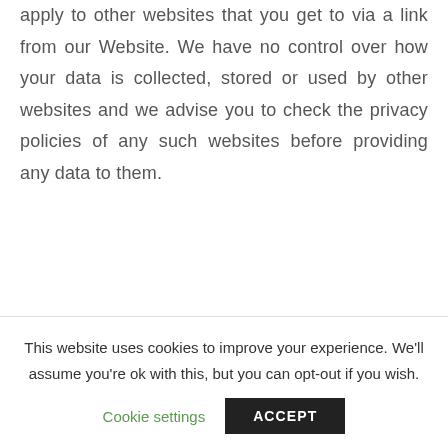apply to other websites that you get to via a link from our Website. We have no control over how your data is collected, stored or used by other websites and we advise you to check the privacy policies of any such websites before providing any data to them.
10 Changes
This website uses cookies to improve your experience. We'll assume you're ok with this, but you can opt-out if you wish.